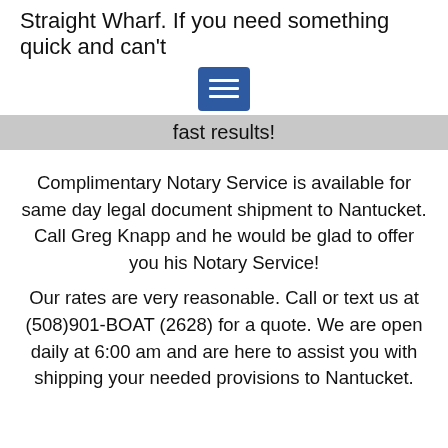Straight Wharf.  If you need something quick and can't
[Figure (other): Blue hamburger menu button with three white horizontal lines]
fast results!
Complimentary Notary Service is available for same day legal document shipment to Nantucket. Call Greg Knapp and he would be glad to offer you his Notary Service!
Our rates are very reasonable. Call or text us at (508)901-BOAT (2628) for a quote. We are open daily at 6:00 am and are here to assist you with shipping your needed provisions to Nantucket.